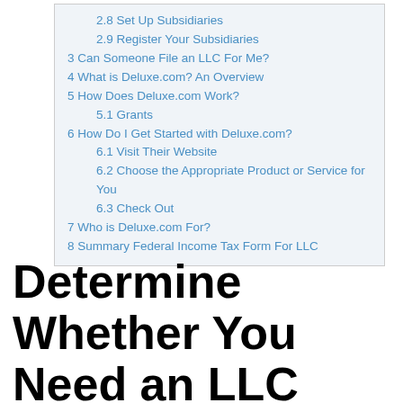2.8 Set Up Subsidiaries
2.9 Register Your Subsidiaries
3 Can Someone File an LLC For Me?
4 What is Deluxe.com? An Overview
5 How Does Deluxe.com Work?
5.1 Grants
6 How Do I Get Started with Deluxe.com?
6.1 Visit Their Website
6.2 Choose the Appropriate Product or Service for You
6.3 Check Out
7 Who is Deluxe.com For?
8 Summary Federal Income Tax Form For LLC
Determine Whether You Need an LLC